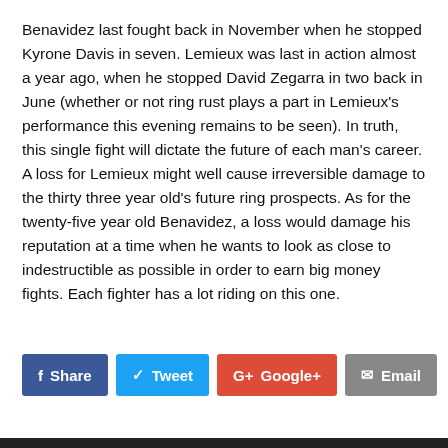Benavidez last fought back in November when he stopped Kyrone Davis in seven. Lemieux was last in action almost a year ago, when he stopped David Zegarra in two back in June (whether or not ring rust plays a part in Lemieux's performance this evening remains to be seen). In truth, this single fight will dictate the future of each man's career. A loss for Lemieux might well cause irreversible damage to the thirty three year old's future ring prospects. As for the twenty-five year old Benavidez, a loss would damage his reputation at a time when he wants to look as close to indestructible as possible in order to earn big money fights. Each fighter has a lot riding on this one.
[Figure (other): Social media sharing buttons: Share (Facebook), Tweet (Twitter), Google+, Email]